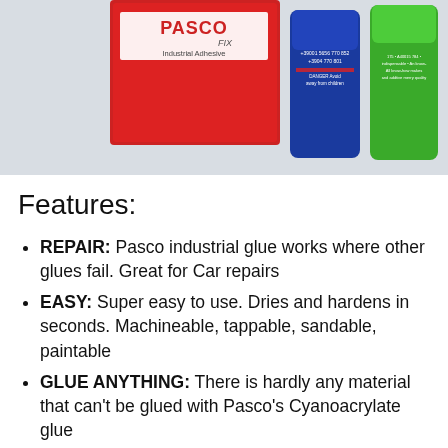[Figure (photo): Photo of Pasco Fix Industrial Adhesive product — a red box labeled 'PASCO FIX Industrial Adhesive', a blue cylindrical bottle, and a green cylindrical bottle, displayed together on a white/grey background.]
Features:
REPAIR: Pasco industrial glue works where other glues fail. Great for Car repairs
EASY: Super easy to use. Dries and hardens in seconds. Machineable, tappable, sandable, paintable
GLUE ANYTHING: There is hardly any material that can't be glued with Pasco's Cyanoacrylate glue
MADE IN GERMANY: Engineered and made in Germany. Highest quality